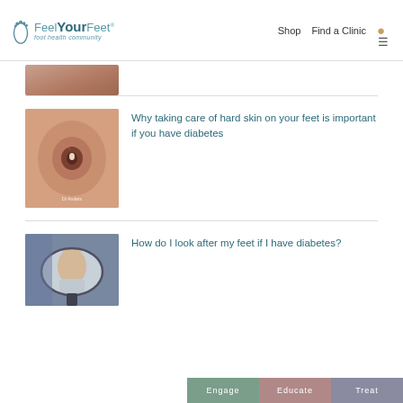Feel Your Feet — foot health community | Shop | Find a Clinic
[Figure (photo): Partially visible medical foot image at top of list]
[Figure (photo): Close-up photo of a diabetic foot wound/ulcer with hard skin, credited to Dr. Anders]
Why taking care of hard skin on your feet is important if you have diabetes
[Figure (photo): Photo of a man reflected in a car side mirror]
How do I look after my feet if I have diabetes?
Engage | Educate | Treat